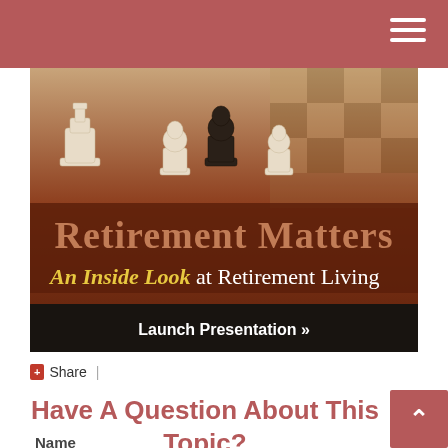[Figure (illustration): Chess pieces on a board. Banner text reads 'Retirement Matters' and 'An Inside Look at Retirement Living'. Below is a dark bar with 'Launch Presentation »'.]
+ Share |
Have A Question About This Topic?
Name